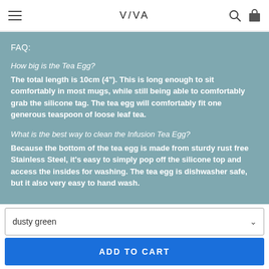VIVA
FAQ:
How big is the Tea Egg?
The total length is 10cm (4"). This is long enough to sit comfortably in most mugs, while still being able to comfortably grab the silicone tag. The tea egg will comfortably fit one generous teaspoon of loose leaf tea.
What is the best way to clean the Infusion Tea Egg?
Because the bottom of the tea egg is made from sturdy rust free Stainless Steel, it's easy to simply pop off the silicone top and access the insides for washing. The tea egg is dishwasher safe, but it also very easy to hand wash.
dusty green
ADD TO CART